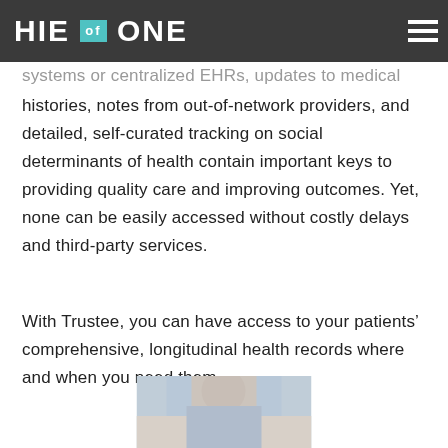HIE of ONE
systems or centralized EHRs, updates to medical histories, notes from out-of-network providers, and detailed, self-curated tracking on social determinants of health contain important keys to providing quality care and improving outcomes. Yet, none can be easily accessed without costly delays and third-party services.
With Trustee, you can have access to your patients’ comprehensive, longitudinal health records where and when you need them.
[Figure (photo): Partial photo of a person in professional/medical attire, cropped at bottom of page]